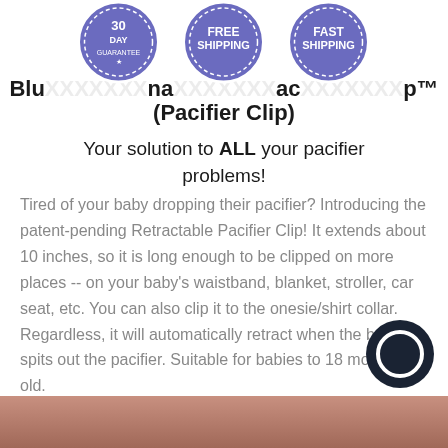[Figure (illustration): Three blue circular badge icons: '30 DAY GUARANTEE', 'FREE SHIPPING', 'FAST SHIPPING']
Blu...na...ac...p™ (Pacifier Clip)
Your solution to ALL your pacifier problems!
Tired of your baby dropping their pacifier? Introducing the patent-pending Retractable Pacifier Clip! It extends about 10 inches, so it is long enough to be clipped on more places -- on your baby's waistband, blanket, stroller, car seat, etc. You can also clip it to the onesie/shirt collar. Regardless, it will automatically retract when the baby spits out the pacifier. Suitable for babies to 18 months old.
[Figure (photo): Partial photo of a baby at the bottom of the page]